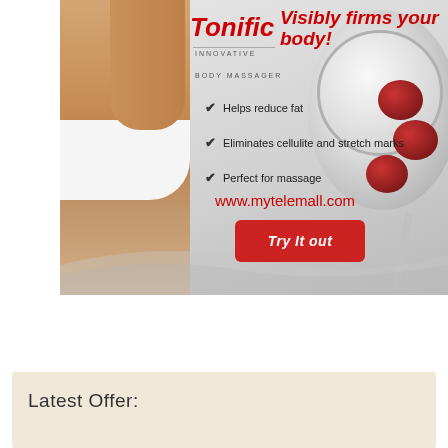[Figure (infographic): Tonific Innovative Body Massager advertisement banner. Shows a woman's torso in white underwear on the left, a massager device with red massage nodes on the right. Red italic headline 'Visibly firms your body!' at top. Brand name 'Tonific' in red italic. Checkmarks listing: Helps reduce fat, Eliminates cellulite and stretch marks, Perfect for massage. Website URL www.mytelemall.com and red CTA button 'Try It out'.]
[Figure (screenshot): Navigation bar with hamburger menu icon (three horizontal lines) on the right side, light gray background.]
Latest Offer: